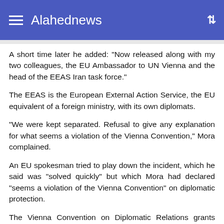Alahednews
A short time later he added: "Now released along with my two colleagues, the EU Ambassador to UN Vienna and the head of the EEAS Iran task force."
The EEAS is the European External Action Service, the EU equivalent of a foreign ministry, with its own diplomats.
"We were kept separated. Refusal to give any explanation for what seems a violation of the Vienna Convention," Mora complained.
An EU spokesman tried to play down the incident, which he said was "solved quickly" but which Mora had declared "seems a violation of the Vienna Convention" on diplomatic protection.
The Vienna Convention on Diplomatic Relations grants legal privileges to diplomats and diplomatic missions, and is one of the treaties that underpins all international relations.
Asked about the incident, EU foreign policy chief Josep Borrell refused to explain the reasons for the